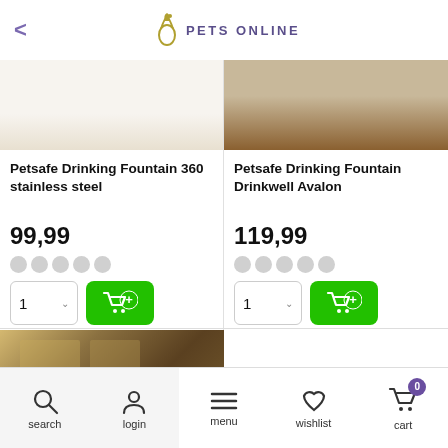PETS ONLINE
[Figure (screenshot): Product card: Petsafe Drinking Fountain 360 stainless steel, price 99,99, 5 empty stars, quantity selector and add to cart button]
[Figure (screenshot): Product card: Petsafe Drinking Fountain Drinkwell Avalon, price 119,99, 5 empty stars, quantity selector and add to cart button]
[Figure (photo): Partial product image showing kitchen scene with golden cat]
search  login  menu  wishlist  cart